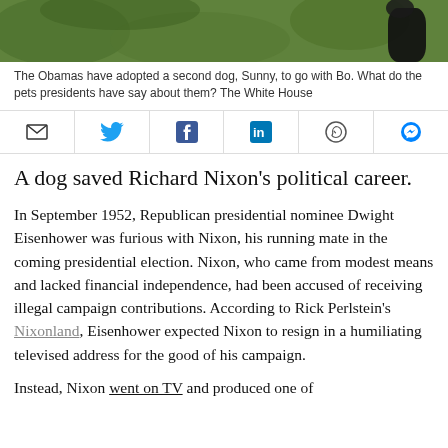[Figure (photo): Partial photo of a dog on grass, dark animal visible against green lawn background]
The Obamas have adopted a second dog, Sunny, to go with Bo. What do the pets presidents have say about them? The White House
[Figure (infographic): Social sharing bar with icons: email (envelope), Twitter (bird), Facebook (f), LinkedIn (in), WhatsApp, Messenger]
A dog saved Richard Nixon’s political career.
In September 1952, Republican presidential nominee Dwight Eisenhower was furious with Nixon, his running mate in the coming presidential election. Nixon, who came from modest means and lacked financial independence, had been accused of receiving illegal campaign contributions. According to Rick Perlstein’s Nixonland, Eisenhower expected Nixon to resign in a humiliating televised address for the good of his campaign.
Instead, Nixon went on TV and produced one of